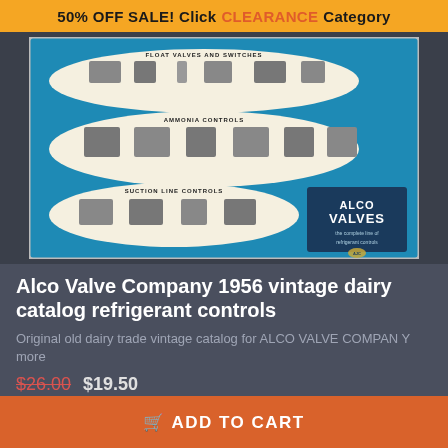50% OFF SALE! Click CLEARANCE Category
[Figure (photo): Vintage 1956 Alco Valve Company dairy catalog cover showing float valves and switches, ammonia controls, and suction line controls on a blue background with white oval panels containing valve illustrations. ALCO VALVES logo and tagline 'the complete line of refrigerant controls' visible.]
Alco Valve Company 1956 vintage dairy catalog refrigerant controls
Original old dairy trade vintage catalog for ALCO VALVE COMPANY more
$26.00  $19.50
You save: $6.50 (25%)
ADD TO CART